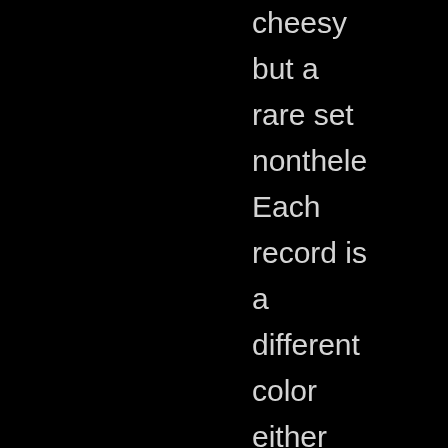cheesy but a rare set nonthele Each record is a different color either green, yellow, red or black. I see ebay has several of the Aunt B and Children' Bible